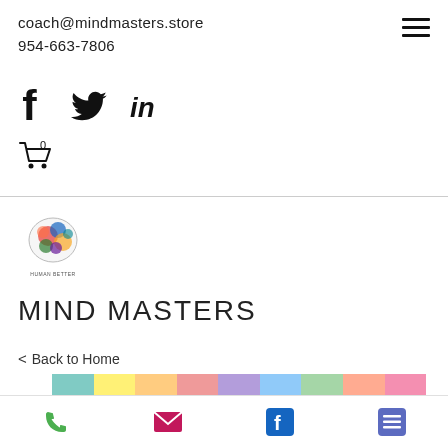coach@mindmasters.store  954-663-7806
[Figure (infographic): Social media icons: Facebook, Twitter, LinkedIn; shopping cart with 0 items]
[Figure (logo): Mind Masters colorful brain logo with text HUMAN BETTER]
MIND MASTERS
< Back to Home
[Figure (photo): Partial preview of a colorful striped image]
Phone | Email | Facebook | Menu